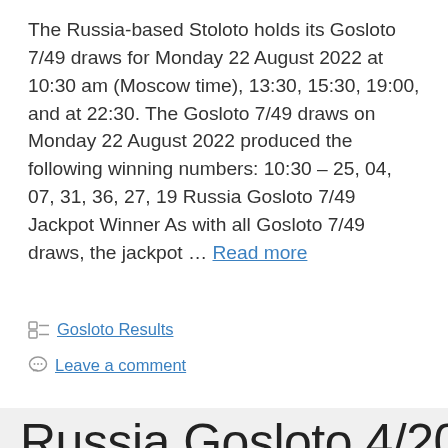The Russia-based Stoloto holds its Gosloto 7/49 draws for Monday 22 August 2022 at 10:30 am (Moscow time), 13:30, 15:30, 19:00, and at 22:30. The Gosloto 7/49 draws on Monday 22 August 2022 produced the following winning numbers: 10:30 – 25, 04, 07, 31, 36, 27, 19 Russia Gosloto 7/49 Jackpot Winner As with all Gosloto 7/49 draws, the jackpot … Read more
Categories: Gosloto Results
Leave a comment
Russia Gosloto 4/20